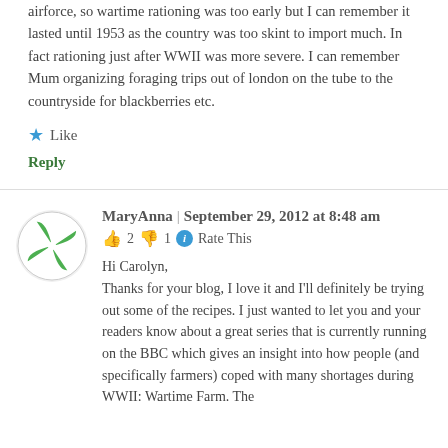airforce, so wartime rationing was too early but I can remember it lasted until 1953 as the country was too skint to import much. In fact rationing just after WWII was more severe. I can remember Mum organizing foraging trips out of london on the tube to the countryside for blackberries etc.
Like
Reply
MaryAnna | September 29, 2012 at 8:48 am
👍 2 👎 1 ℹ Rate This
Hi Carolyn,
Thanks for your blog, I love it and I'll definitely be trying out some of the recipes. I just wanted to let you and your readers know about a great series that is currently running on the BBC which gives an insight into how people (and specifically farmers) coped with many shortages during WWII: Wartime Farm. The